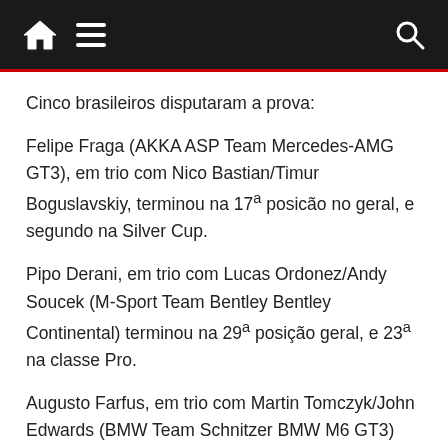Home | Menu | Search
Cinco brasileiros disputaram a prova:
Felipe Fraga (AKKA ASP Team Mercedes-AMG GT3), em trio com Nico Bastian/Timur Boguslavskiy, terminou na 17ª posicão no geral, e segundo na Silver Cup.
Pipo Derani, em trio com Lucas Ordonez/Andy Soucek (M-Sport Team Bentley Bentley Continental) terminou na 29ª posição geral, e 23ª na classe Pro.
Augusto Farfus, em trio com Martin Tomczyk/John Edwards (BMW Team Schnitzer BMW M6 GT3) abandonou.
Daniel Serra, em trio com Nick Cassidy/Nick Foster (HubAuto Corsa Ferrari 488 GT3) abandonou.
Rodrigo Baptista, em trio com Callum